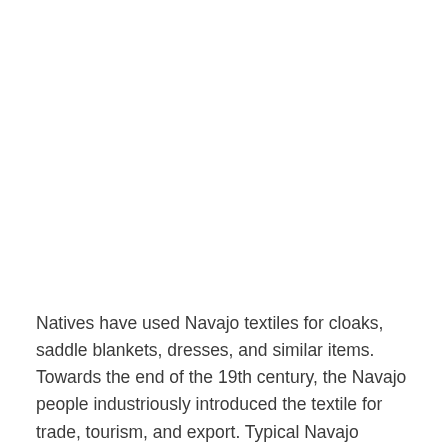Natives have used Navajo textiles for cloaks, saddle blankets, dresses, and similar items. Towards the end of the 19th century, the Navajo people industriously introduced the textile for trade, tourism, and export. Typical Navajo textiles have strong patterns that are geometric by nature.